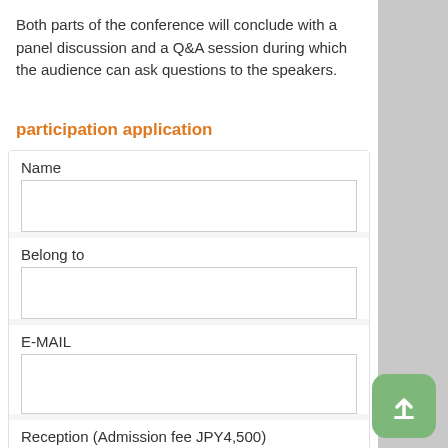Both parts of the conference will conclude with a panel discussion and a Q&A session during which the audience can ask questions to the speakers.
participation application
Name
Belong to
E-MAIL
Reception (Admission fee JPY4,500)
absence  attendance